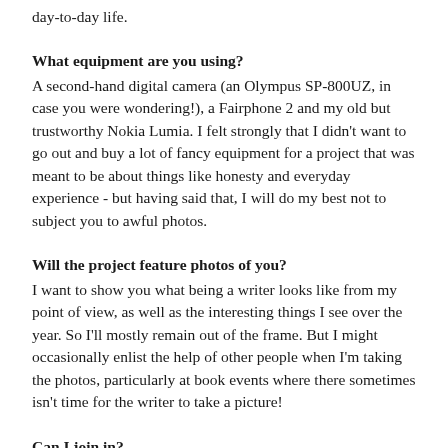day-to-day life.
What equipment are you using?
A second-hand digital camera (an Olympus SP-800UZ, in case you were wondering!), a Fairphone 2 and my old but trustworthy Nokia Lumia. I felt strongly that I didn't want to go out and buy a lot of fancy equipment for a project that was meant to be about things like honesty and everyday experience - but having said that, I will do my best not to subject you to awful photos.
Will the project feature photos of you?
I want to show you what being a writer looks like from my point of view, as well as the interesting things I see over the year. So I'll mostly remain out of the frame. But I might occasionally enlist the help of other people when I'm taking the photos, particularly at book events where there sometimes isn't time for the writer to take a picture!
Can I join in?
Of course! Several people have asked me this (and one